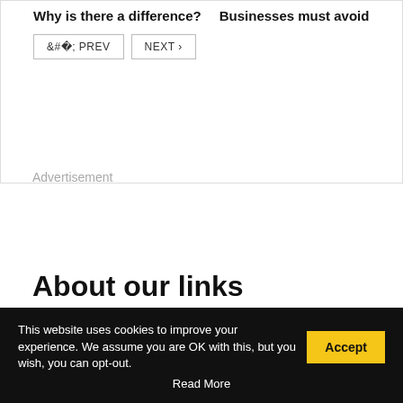Why is there a difference?  Businesses must avoid
< PREV   NEXT >
Advertisement
About our links
Businesstechweekly.com is reader-supported. On our technology
This website uses cookies to improve your experience. We assume you are OK with this, but you wish, you can opt-out.
Accept
Read More